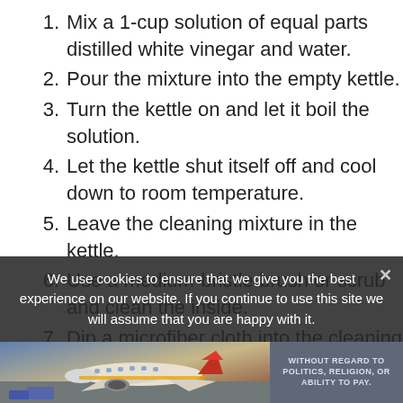Mix a 1-cup solution of equal parts distilled white vinegar and water.
Pour the mixture into the empty kettle.
Turn the kettle on and let it boil the solution.
Let the kettle shut itself off and cool down to room temperature.
Leave the cleaning mixture in the kettle.
Use a medium-bristle brush or scrub and clean the inside.
Dip a microfiber cloth into the cleaning solution.
Clean the outside of the kettle with a
We use cookies to ensure that we give you the best experience on our website. If you continue to use this site we will assume that you are happy with it.
[Figure (photo): Advertisement banner showing an airplane on a tarmac with text 'WITHOUT REGARD TO' visible on the right side]